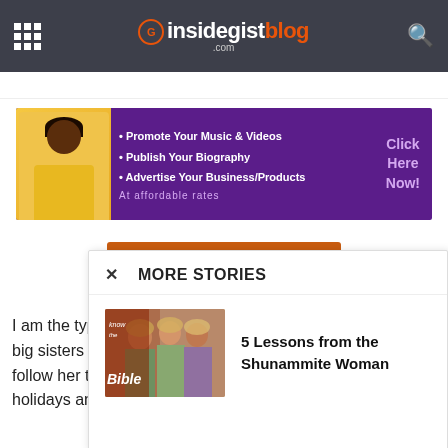insidegistblog.com
[Figure (infographic): Promotional ad banner: purple background with woman in yellow top pointing, bullets: Promote Your Music & Videos, Publish Your Biography, Advertise Your Business/Products, At affordable rates, Click Here Now!]
[Figure (infographic): Orange download button labeled DOWNLOAD HERE]
I am the type tha... big sisters back... follow her to Ilo... holidays and she...
[Figure (infographic): More Stories popup overlay with X close button, heading MORE STORIES, and story: 5 Lessons from the Shunammite Woman with thumbnail image]